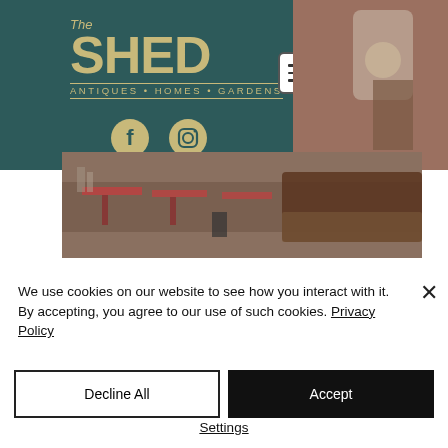[Figure (logo): The SHED Antiques Homes Gardens logo on dark teal background with social media icons (Facebook, Instagram)]
[Figure (photo): Interior of antique shop showing furniture, tables, and items for sale]
We use cookies on our website to see how you interact with it. By accepting, you agree to our use of such cookies. Privacy Policy
Decline All
Accept
Settings